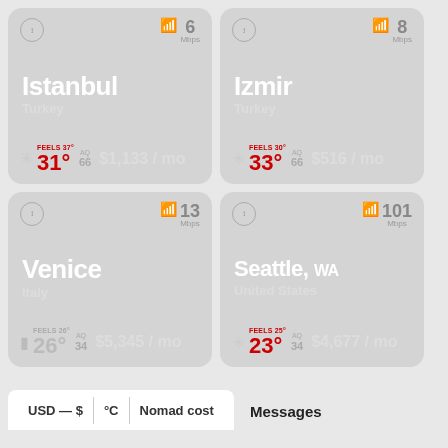[Figure (infographic): City card for Istanbul, Turkey. WiFi: 6 Mbps. Feels 37°, temperature 31°, AQ 66. Cost: $1,133/mo.]
[Figure (infographic): City card for Izmir, Turkey. WiFi: 8 Mbps. Feels 30°, temperature 33°, AQ 66. Cost: $516/mo.]
[Figure (infographic): City card for Venice, Italy. WiFi: 13 Mbps. Feels 26°, temperature 26°, AQ 34. Cost: $5,345/mo.]
[Figure (infographic): City card for Seattle, WA, United States. WiFi: 101 Mbps. Feels 25°, temperature 23°, AQ 34. Cost: $4,677/mo.]
USD — $
°C
Nomad cost
Messages